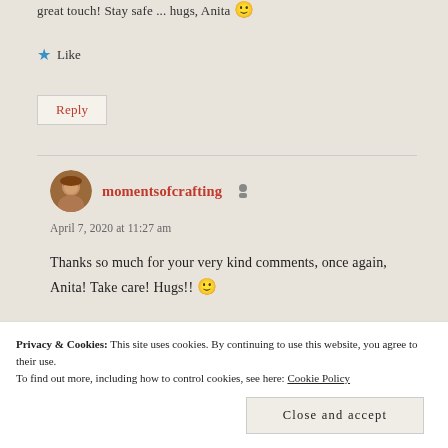great touch! Stay safe ... hugs, Anita 🙂
★ Like
Reply
momentsofcrafting
April 7, 2020 at 11:27 am
Thanks so much for your very kind comments, once again, Anita! Take care! Hugs!! 🙂
Privacy & Cookies: This site uses cookies. By continuing to use this website, you agree to their use. To find out more, including how to control cookies, see here: Cookie Policy
Close and accept